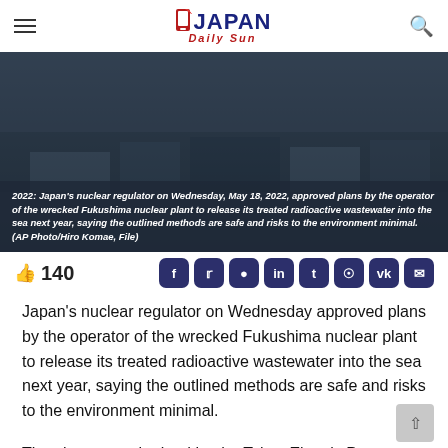Japan Daily Sun
[Figure (photo): Aerial or overview photo of Fukushima nuclear plant area, dark toned]
2022: Japan's nuclear regulator on Wednesday, May 18, 2022, approved plans by the operator of the wrecked Fukushima nuclear plant to release its treated radioactive wastewater into the sea next year, saying the outlined methods are safe and risks to the environment minimal. (AP Photo/Hiro Komae, File)
140
Japan's nuclear regulator on Wednesday approved plans by the operator of the wrecked Fukushima nuclear plant to release its treated radioactive wastewater into the sea next year, saying the outlined methods are safe and risks to the environment minimal.
The plan was submitted by the Tokyo Electric Power Company Holdings (TEPCO) in December based on the government's decision last year to release the wastewater as a necessary step for the ongoing plant cleanup and decommission.